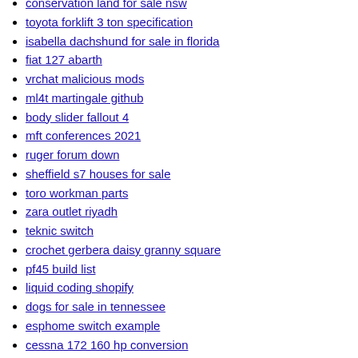conservation land for sale nsw
toyota forklift 3 ton specification
isabella dachshund for sale in florida
fiat 127 abarth
vrchat malicious mods
ml4t martingale github
body slider fallout 4
mft conferences 2021
ruger forum down
sheffield s7 houses for sale
toro workman parts
zara outlet riyadh
teknic switch
crochet gerbera daisy granny square
pf45 build list
liquid coding shopify
dogs for sale in tennessee
esphome switch example
cessna 172 160 hp conversion
carburetor size calculator
why am i not getting notifications from messages
hal uart functions
is wycliffe bible translators a good charity
bobcat 610 service manual pdf
branson 2610 specs
2019 python greatest national results